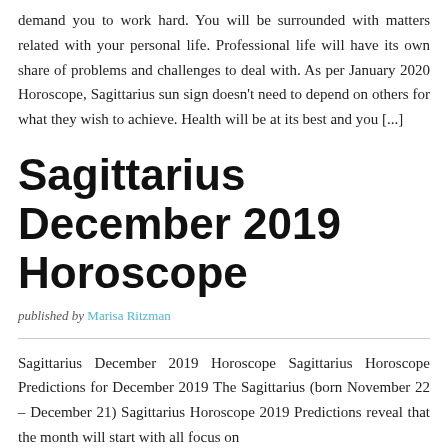demand you to work hard. You will be surrounded with matters related with your personal life. Professional life will have its own share of problems and challenges to deal with. As per January 2020 Horoscope, Sagittarius sun sign doesn't need to depend on others for what they wish to achieve. Health will be at its best and you [...]
Sagittarius December 2019 Horoscope
published by Marisa Ritzman
Sagittarius December 2019 Horoscope Sagittarius Horoscope Predictions for December 2019 The Sagittarius (born November 22 – December 21) Sagittarius Horoscope 2019 Predictions reveal that the month will start with all focus on